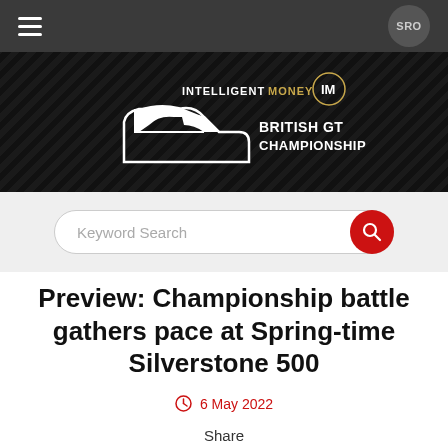SRO
[Figure (logo): Intelligent Money British GT Championship logo on dark background with diagonal stripe texture]
Keyword Search
Preview: Championship battle gathers pace at Spring-time Silverstone 500
6 May 2022
Share